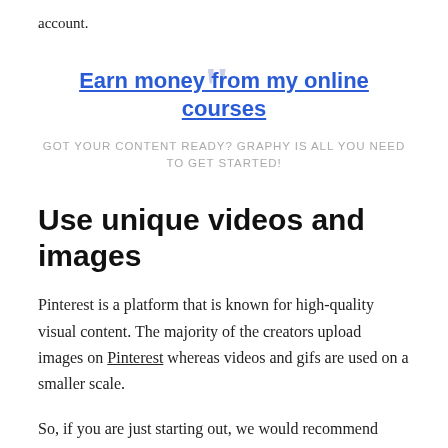account.
[Figure (infographic): Promotional ad block with decorative quotation marks, a blue underlined heading link 'Earn money from my online courses', and gray uppercase subtitle text 'GOT YOUR CONTENT READY? GRAPHY IS ALL YOU NEED TO GET STARTED!']
Use unique videos and images
Pinterest is a platform that is known for high-quality visual content. The majority of the creators upload images on Pinterest whereas videos and gifs are used on a smaller scale.
So, if you are just starting out, we would recommend